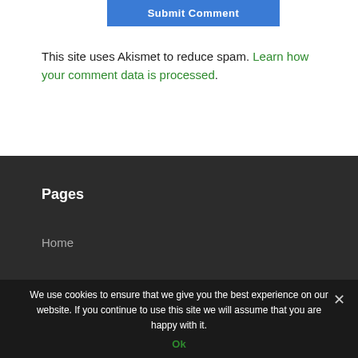[Figure (screenshot): Blue 'Submit Comment' button at the top center of the white section]
This site uses Akismet to reduce spam. Learn how your comment data is processed.
Pages
Home
We use cookies to ensure that we give you the best experience on our website. If you continue to use this site we will assume that you are happy with it.
Ok